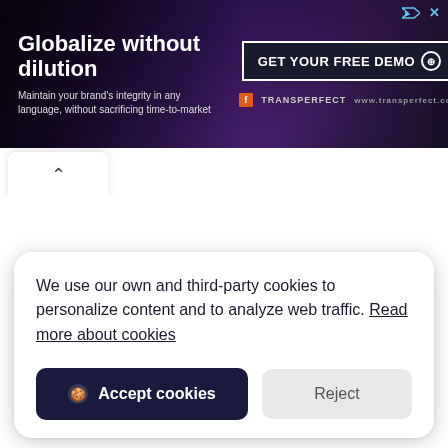[Figure (screenshot): Advertisement banner for TransPerfect with dark purple background. Left side shows headline 'Globalize without dilution' with subtext 'Maintain your brand's integrity in any language, without sacrificing time-to-market'. Right side shows 'GET YOUR FREE DEMO' CTA button and TransPerfect logo.]
[Figure (screenshot): A small white rounded rectangle tab with a caret/chevron up arrow, acting as a collapse button for the advertisement.]
We use our own and third-party cookies to personalize content and to analyze web traffic. Read more about cookies
Accept cookies
Reject